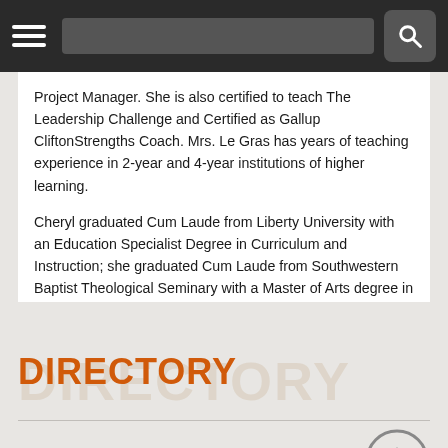[navigation bar with hamburger menu and search]
Project Manager. She is also certified to teach The Leadership Challenge and Certified as Gallup CliftonStrengths Coach. Mrs. Le Gras has years of teaching experience in 2-year and 4-year institutions of higher learning.
Cheryl graduated Cum Laude from Liberty University with an Education Specialist Degree in Curriculum and Instruction; she graduated Cum Laude from Southwestern Baptist Theological Seminary with a Master of Arts degree in Christian Education. Her Master of Science in Recreation and Leisure Studies and the Bachelor of Arts degree in Radio, TV, and Film are from California State University Northridge.
DIRECTORY
Search